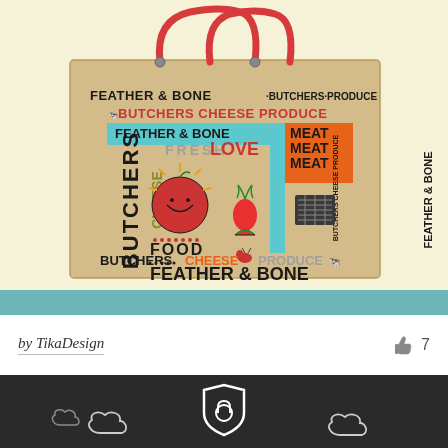[Figure (illustration): A burlap/jute tote bag with colorful typographic design featuring text: FEATHER & BONE, BUTCHERS, PRODUCE, CHEESE, MEAT, FRESH, LOVE, FOOD, arranged in various orientations with illustrations of farm/food items. The bag has red rope handles.]
by TikaDesign
[Figure (other): Like/thumbs-up icon with count 7]
[Figure (illustration): Dark background section showing outline cloud illustrations and a shield/lock icon logo in white]